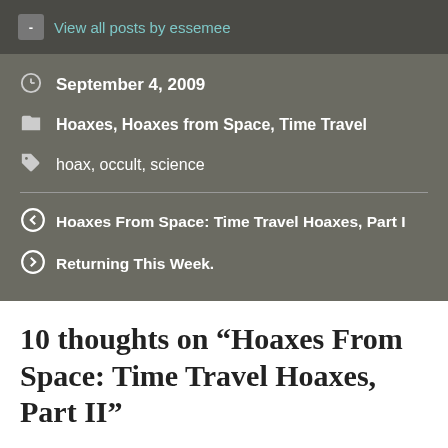View all posts by essemee
September 4, 2009
Hoaxes, Hoaxes from Space, Time Travel
hoax, occult, science
Hoaxes From Space: Time Travel Hoaxes, Part I
Returning This Week.
10 thoughts on “Hoaxes From Space: Time Travel Hoaxes, Part II”